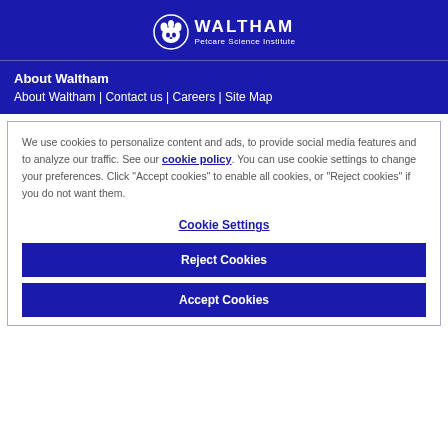[Figure (logo): Waltham Petcare Science Institute logo — white paw/cat icon with WALTHAM text and 'Petcare Science Institute' subtitle on dark blue background]
About Waltham
About Waltham | Contact us | Careers | Site Map
We use cookies to personalize content and ads, to provide social media features and to analyze our traffic. See our cookie policy. You can use cookie settings to change your preferences. Click "Accept cookies" to enable all cookies, or "Reject cookies" if you do not want them.
Cookie Settings
Reject Cookies
Accept Cookies